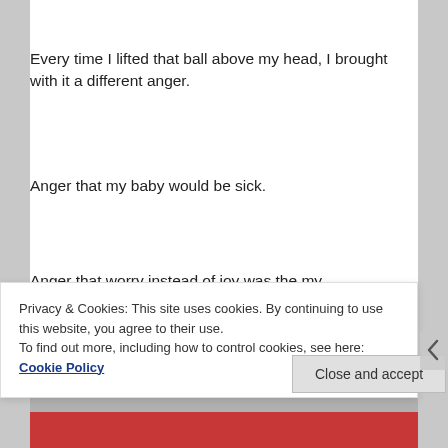Every time I lifted that ball above my head, I brought with it a different anger.
Anger that my baby would be sick.
Anger that worry instead of joy was the my prominent feeling through my first pregnancy.
Anger that others seemed to have it so easy.
Anger that my devotion to helping women with their pregnancies was rewarded with a baby that would likely die.
Privacy & Cookies: This site uses cookies. By continuing to use this website, you agree to their use.
To find out more, including how to control cookies, see here: Cookie Policy